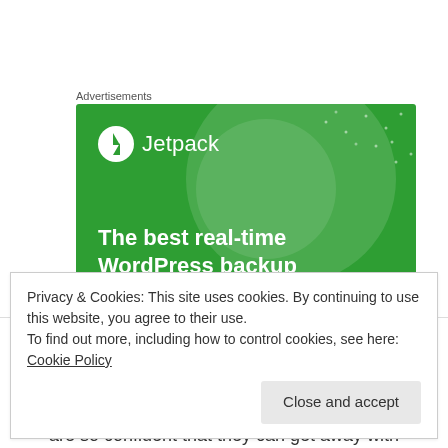Advertisements
[Figure (screenshot): Jetpack WordPress plugin advertisement banner with green background, Jetpack logo, and text 'The best real-time WordPress backup']
mahabore on December 10, 2013 at 5:29 am
Privacy & Cookies: This site uses cookies. By continuing to use this website, you agree to their use.
To find out more, including how to control cookies, see here: Cookie Policy
are so confident that they can get away with